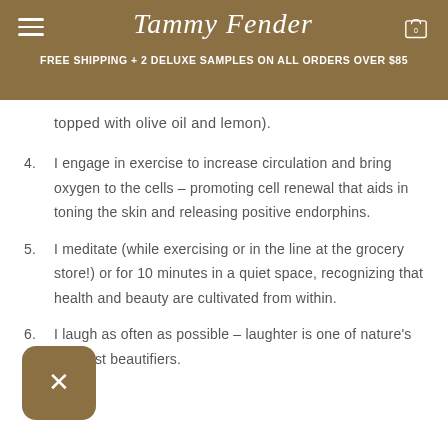Tammy Fender
FREE SHIPPING + 2 DELUXE SAMPLES ON ALL ORDERS OVER $85
topped with olive oil and lemon).
4. I engage in exercise to increase circulation and bring oxygen to the cells – promoting cell renewal that aids in toning the skin and releasing positive endorphins.
5. I meditate (while exercising or in the line at the grocery store!) or for 10 minutes in a quiet space, recognizing that health and beauty are cultivated from within.
6. I laugh as often as possible – laughter is one of nature's greatest beautifiers.